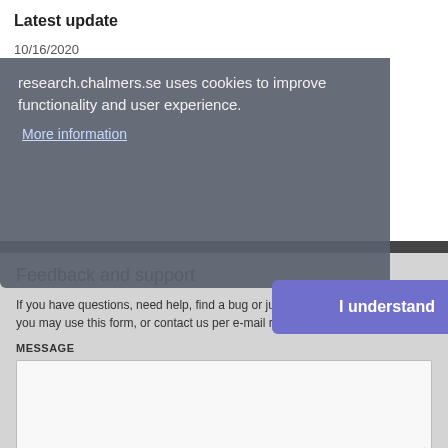Latest update
10/16/2020
research.chalmers.se uses cookies to improve functionality and user experience.
More information
I understand
Feedback and support
If you have questions, need help, find a bug or just want to give us feedback you may use this form, or contact us per e-mail research.lib@chalmers.se.
MESSAGE